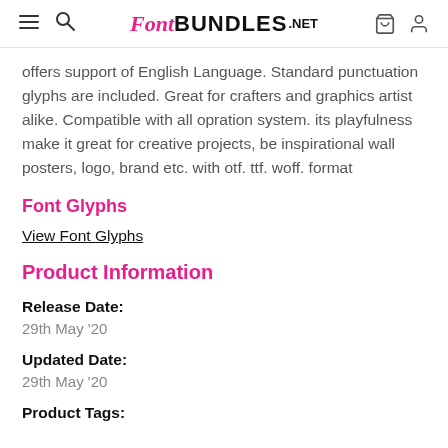FontBundles.net
offers support of English Language. Standard punctuation glyphs are included. Great for crafters and graphics artist alike. Compatible with all opration system. its playfulness make it great for creative projects, be inspirational wall posters, logo, brand etc. with otf. ttf. woff. format
Font Glyphs
View Font Glyphs
Product Information
Release Date:
29th May '20
Updated Date:
29th May '20
Product Tags: